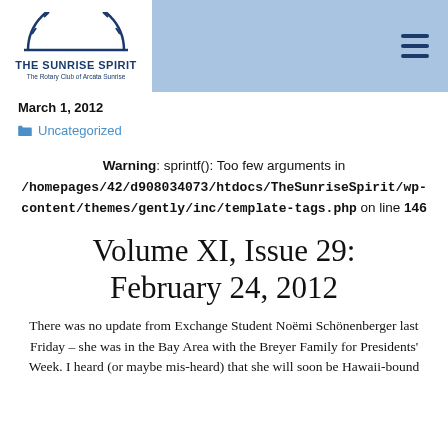THE SUNRISE SPIRIT — The Rotary Club of Arcata Sunrise
March 1, 2012
Uncategorized
Warning: sprintf(): Too few arguments in /homepages/42/d908034073/htdocs/TheSunriseSpirit/wp-content/themes/gently/inc/template-tags.php on line 146
Volume XI, Issue 29: February 24, 2012
There was no update from Exchange Student Noëmi Schönenberger last Friday – she was in the Bay Area with the Breyer Family for Presidents' Week. I heard (or maybe mis-heard) that she will soon be Hawaii-bound